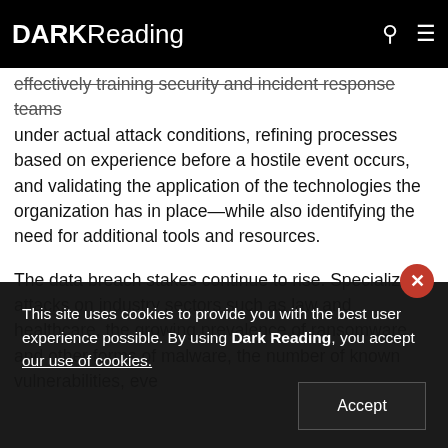DARK Reading
effectively training security and incident response teams under actual attack conditions, refining processes based on experience before a hostile event occurs, and validating the application of the technologies the organization has in place—while also identifying the need for additional tools and resources.
The data breach stakes continue to rise. Specialized attacks on industry sectors such as law and healthcare, the growing prevalence of ransomware and other forms of malware, the number of known vulnerabilities, eve…
This site uses cookies to provide you with the best user experience possible. By using Dark Reading, you accept our use of cookies.